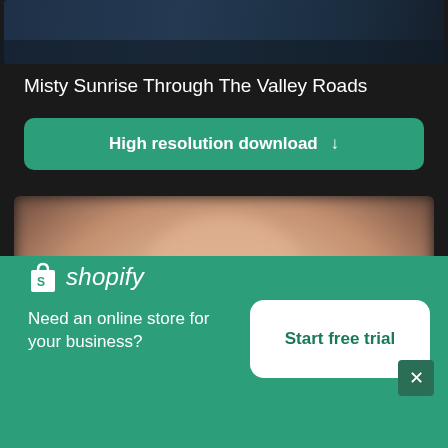[Figure (photo): Top portion of a dark landscape/nature photo (misty valley road scene), partially visible]
Misty Sunrise Through The Valley Roads
High resolution download ↓
[Figure (photo): Blurred photo of a person (likely a woman with red/auburn hair) holding something white, presumably a photograph/print]
[Figure (logo): Shopify logo - white shopping bag icon with 'shopify' italic wordmark]
Need an online store for your business?
Start free trial